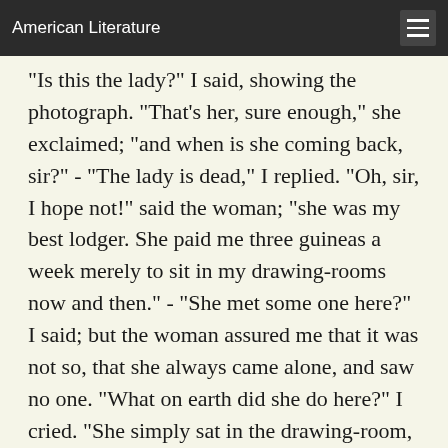American Literature
"Is this the lady?" I said, showing the photograph. "That's her, sure enough," she exclaimed; "and when is she coming back, sir?" - "The lady is dead," I replied. "Oh, sir, I hope not!" said the woman; "she was my best lodger. She paid me three guineas a week merely to sit in my drawing-rooms now and then." - "She met some one here?" I said; but the woman assured me that it was not so, that she always came alone, and saw no one. "What on earth did she do here?" I cried. "She simply sat in the drawing-room, sir, reading books, and sometimes had tea," the woman answered. I did not know what to say, so I gave her a sovereign and went away. Now, what do you think it all meant? You